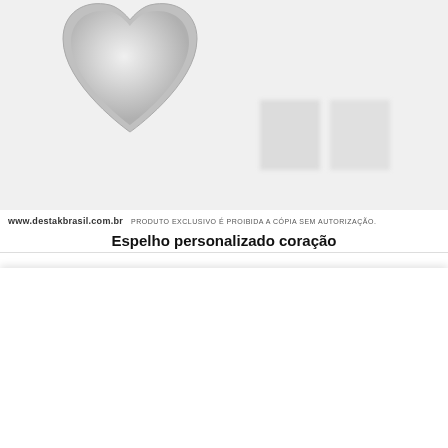[Figure (photo): Product photo of a heart-shaped personalized mirror with silver metallic edge, shown on white/light gray background with blurred secondary product images in background. Watermark bar below reads 'www.destakbrasil.com.br' and 'PRODUTO EXCLUSIVO É PROIBIDA A CÓPIA SEM AUTORIZAÇÃO.']
Espelho personalizado coração
Usamos cookies em nosso site para fornecer a experiência mais relevante, lembrando suas preferências e visitas repetidas. Ao clicar em "Aceitar todos", você concorda com o uso de TODOS os cookies. No entanto, você pode visitar "Configurações de cookies" para fornecer um consentimento controlado.
Cookie Configuração
Aceitar Todos